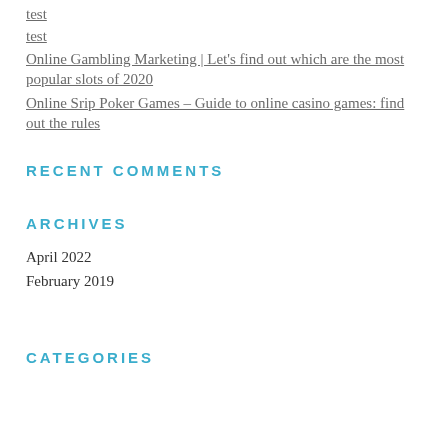test
test
Online Gambling Marketing | Let's find out which are the most popular slots of 2020
Online Srip Poker Games – Guide to online casino games: find out the rules
RECENT COMMENTS
ARCHIVES
April 2022
February 2019
CATEGORIES